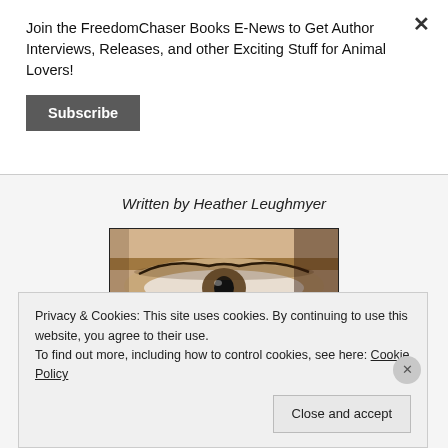Join the FreedomChaser Books E-News to Get Author Interviews, Releases, and other Exciting Stuff for Animal Lovers!
Subscribe
Written by Heather Leughmyer
[Figure (photo): Close-up photo of a human eye, likely a book cover image]
Privacy & Cookies: This site uses cookies. By continuing to use this website, you agree to their use.
To find out more, including how to control cookies, see here: Cookie Policy
Close and accept